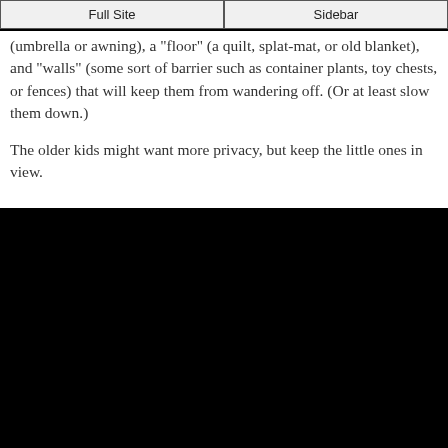Full Site | Sidebar
(umbrella or awning), a "floor" (a quilt, splat-mat, or old blanket), and "walls" (some sort of barrier such as container plants, toy chests, or fences) that will keep them from wandering off. (Or at least slow them down.)
The older kids might want more privacy, but keep the little ones in view.